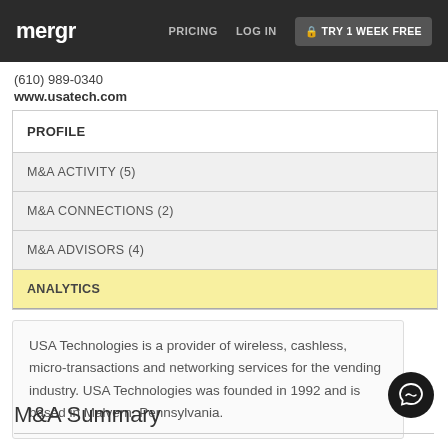mergr  PRICING  LOG IN  TRY 1 WEEK FREE
(610) 989-0340
www.usatech.com
| PROFILE |
| M&A ACTIVITY (5) |
| M&A CONNECTIONS (2) |
| M&A ADVISORS (4) |
| ANALYTICS |
USA Technologies is a provider of wireless, cashless, micro-transactions and networking services for the vending industry. USA Technologies was founded in 1992 and is based in Malvern, Pennsylvania.
M&A Summary